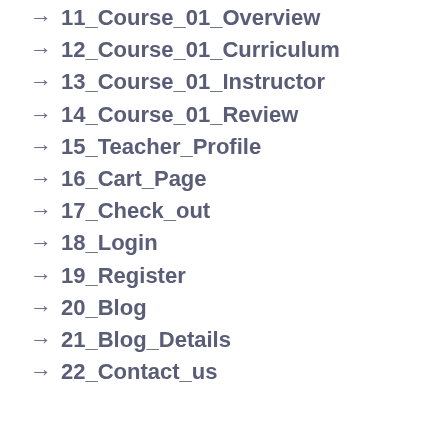→ 11_Course_01_Overview
→ 12_Course_01_Curriculum
→ 13_Course_01_Instructor
→ 14_Course_01_Review
→ 15_Teacher_Profile
→ 16_Cart_Page
→ 17_Check_out
→ 18_Login
→ 19_Register
→ 20_Blog
→ 21_Blog_Details
→ 22_Contact_us